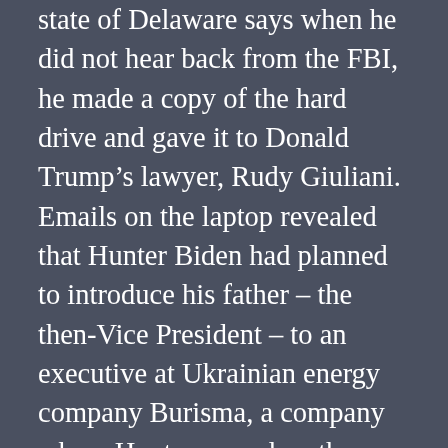state of Delaware says when he did not hear back from the FBI, he made a copy of the hard drive and gave it to Donald Trump’s lawyer, Rudy Giuliani. Emails on the laptop revealed that Hunter Biden had planned to introduce his father – the then-Vice President – to an executive at Ukrainian energy company Burisma, a company where Hunter served on the board of directors. Publicly, Biden has said he’s never spoken to his son about his overseas business dealings. These emails seem to indicate otherwise. In one